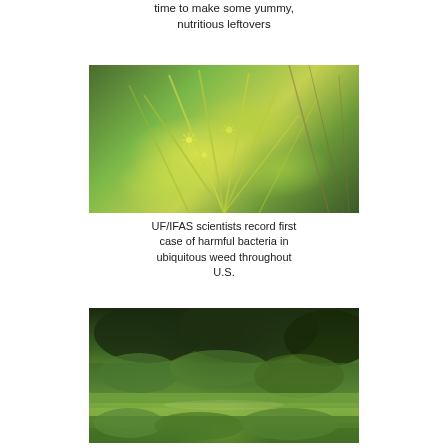time to make some yummy, nutritious leftovers
[Figure (photo): Close-up photo of a yellow-green weed plant with star-shaped flower clusters and long blade-like leaves, surrounded by dry brown grass]
UF/IFAS scientists record first case of harmful bacteria in ubiquitous weed throughout U.S.
[Figure (photo): Landscape photo showing a green field or waterway with trees and dense vegetation in the background]